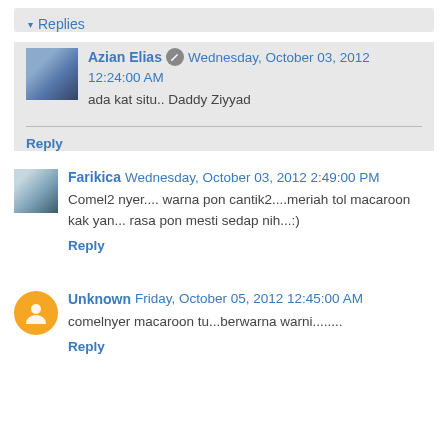▾ Replies
Azian Elias ✏ Wednesday, October 03, 2012 12:24:00 AM
ada kat situ.. Daddy Ziyyad
Reply
Farikica Wednesday, October 03, 2012 2:49:00 PM
Comel2 nyer.... warna pon cantik2....meriah tol macaroon kak yan... rasa pon mesti sedap nih...:)
Reply
Unknown Friday, October 05, 2012 12:45:00 AM
comelnyer macaroon tu...berwarna warni........
Reply